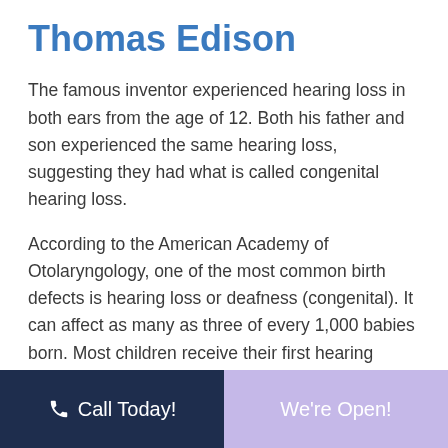Thomas Edison
The famous inventor experienced hearing loss in both ears from the age of 12. Both his father and son experienced the same hearing loss, suggesting they had what is called congenital hearing loss.
According to the American Academy of Otolaryngology, one of the most common birth defects is hearing loss or deafness (congenital). It can affect as many as three of every 1,000 babies born. Most children receive their first hearing screening shortly after birth. All states have implemented newborn hearing screenings into
Call Today!  We're Open!